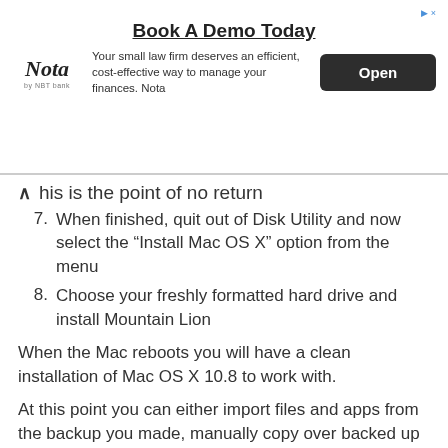[Figure (other): Advertisement banner for Nota by NBT Bank. Title: 'Book A Demo Today'. Body: 'Your small law firm deserves an efficient, cost-effective way to manage your finances. Nota'. Contains Nota logo and an 'Open' button.]
his is the point of no return
7. When finished, quit out of Disk Utility and now select the “Install Mac OS X” option from the menu
8. Choose your freshly formatted hard drive and install Mountain Lion
When the Mac reboots you will have a clean installation of Mac OS X 10.8 to work with.
At this point you can either import files and apps from the backup you made, manually copy over backed up files, or just start anew.